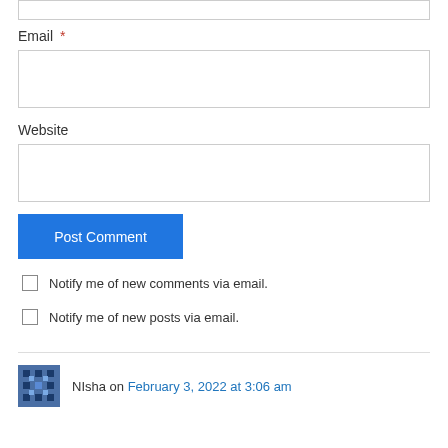Email *
Website
Post Comment
Notify me of new comments via email.
Notify me of new posts via email.
NIsha on February 3, 2022 at 3:06 am